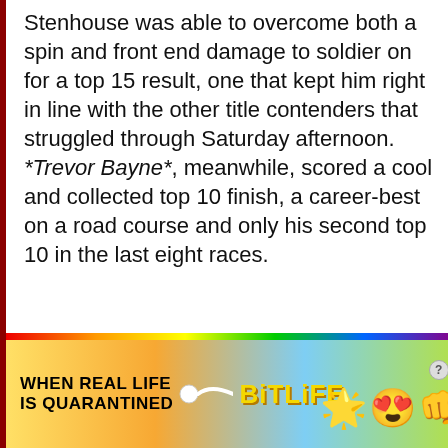Stenhouse was able to overcome both a spin and front end damage to soldier on for a top 15 result, one that kept him right in line with the other title contenders that struggled through Saturday afternoon. *Trevor Bayne*, meanwhile, scored a cool and collected top 10 finish, a career-best on a road course and only his second top 10 in the last eight races.
_The Bad_
Outside of *Ron Fellows*, the cast of road ringers that tackled the Glen this Saturday were about as quiet as ringers have been at
[Figure (other): Advertisement banner for BitLife mobile game with rainbow gradient background, text 'WHEN REAL LIFE IS QUARANTINED', sperm emoji graphic, BitLife logo in yellow, and cartoon face emojis with star eyes and gold fist]